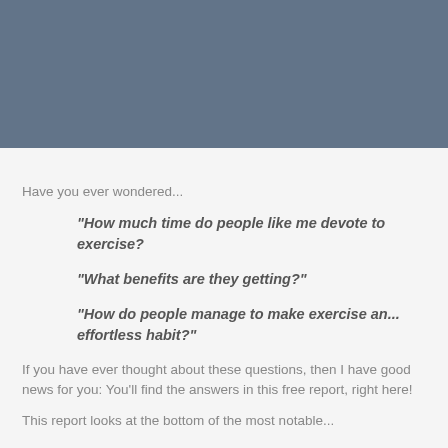[Figure (other): Blue-grey banner/header image spanning the top of the page]
Have you ever wondered...
“How much time do people like me devote to exercise?
“What benefits are they getting?”
“How do people manage to make exercise an... effortless habit?”
If you have ever thought about these questions, then I have good news for you: You’ll find the answers in this free report, right here!
This report looks at the bottom of the most notable...